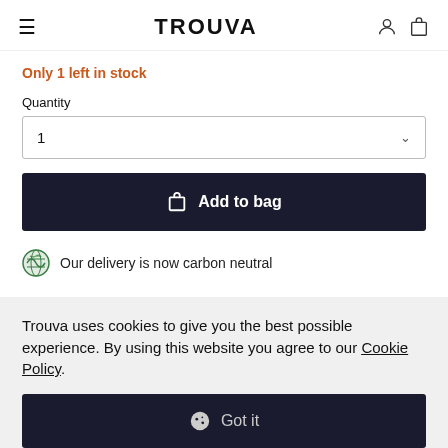TROUVA
Only 1 left in stock
Quantity
1
Add to bag
Our delivery is now carbon neutral
Trouva uses cookies to give you the best possible experience. By using this website you agree to our Cookie Policy.
Got it